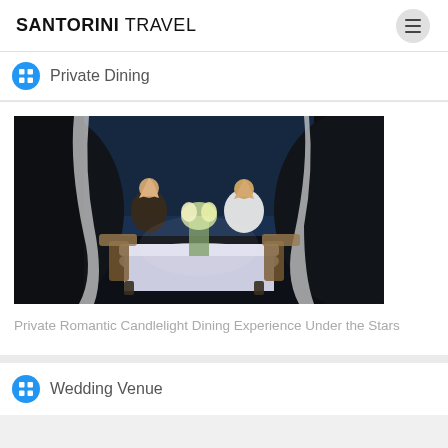SANTORINI TRAVEL
Private Dining
[Figure (photo): Couple dining at a candlelit table set outdoors at night, framed by white curtains, with flowers on the table and dark ocean background.]
Private Romantic Candlelight Dining Experience Under the Stars
Wedding Venue